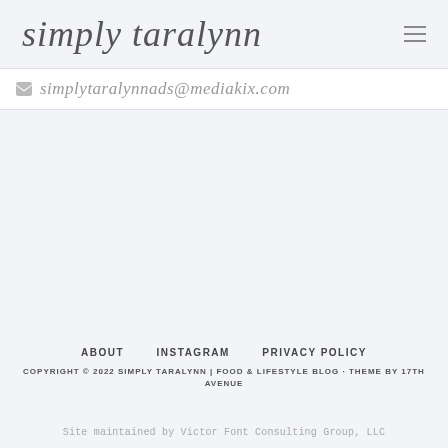simply taralynn
simplytaralynnads@mediakix.com
ABOUT   INSTAGRAM   PRIVACY POLICY
COPYRIGHT © 2022 SIMPLY TARALYNN | FOOD & LIFESTYLE BLOG · THEME BY 17TH AVENUE
Site maintained by Victor Font Consulting Group, LLC